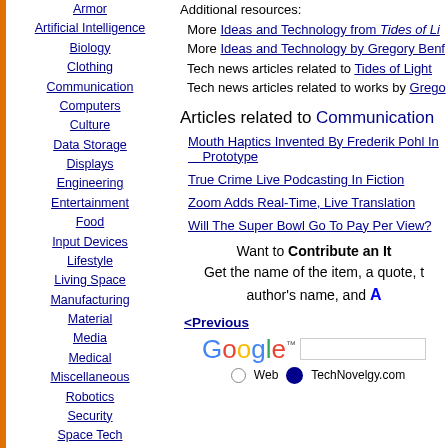Armor
Artificial Intelligence
Biology
Clothing
Communication
Computers
Culture
Data Storage
Displays
Engineering
Entertainment
Food
Input Devices
Lifestyle
Living Space
Manufacturing
Material
Media
Medical
Miscellaneous
Robotics
Security
Space Tech
Spacecraft
Surveillance
Transportation
Travel
Vehicle
Virtual Person
Warfare
Additional resources:
More Ideas and Technology from Tides of Li...
More Ideas and Technology by Gregory Benf...
Tech news articles related to Tides of Light
Tech news articles related to works by Grego...
Articles related to Communication
Mouth Haptics Invented By Frederik Pohl In Prototype
True Crime Live Podcasting In Fiction
Zoom Adds Real-Time, Live Translation
Will The Super Bowl Go To Pay Per View?
Want to Contribute an It...
Get the name of the item, a quote, t...
author's name, and A...
<Previous
[Figure (logo): Google logo with search box and radio buttons for Web and TechNovelgy.com]